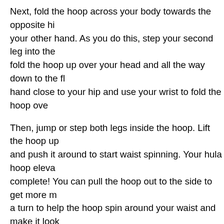Next, fold the hoop across your body towards the opposite hip with your other hand. As you do this, step your second leg into the fold the hoop up over your head and all the way down to the fl hand close to your hip and use your wrist to fold the hoop over
Then, jump or step both legs inside the hoop. Lift the hoop up and push it around to start waist spinning. Your hula hoop eleva complete! You can pull the hoop out to the side to get more m a turn to help the hoop spin around your waist and make it look
We've got lots of different hula hoop trick videos – you could le create a routine! Tag 'hula hoop' or 'manipulation' on our Youth Edition library page here to find them.